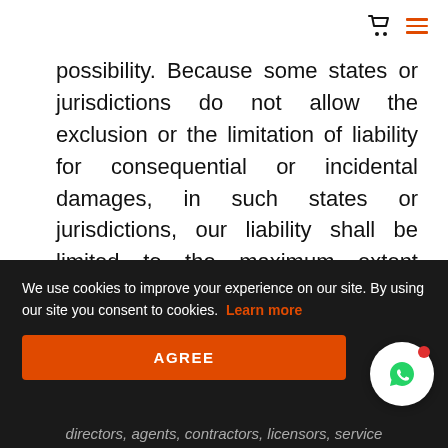possibility. Because some states or jurisdictions do not allow the exclusion or the limitation of liability for consequential or incidental damages, in such states or jurisdictions, our liability shall be limited to the maximum extent permitted by law.
SECTION 14 – INDEMNIFICATION
We use cookies to improve your experience on our site. By using our site you consent to cookies. Learn more
AGREE
directors, agents, contractors, licensors, service